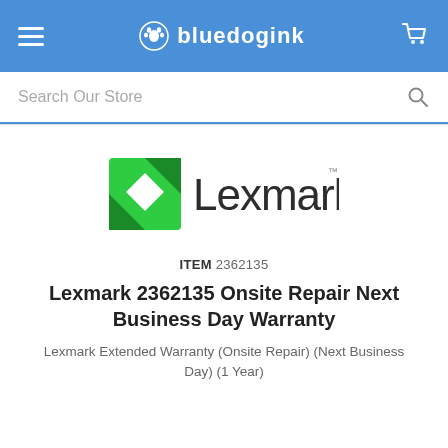bluedogink
Search Our Store
[Figure (logo): Lexmark logo with green geometric diamond/arrow icon and 'Lexmark' wordmark in dark gray]
ITEM 2362135
Lexmark 2362135 Onsite Repair Next Business Day Warranty
Lexmark Extended Warranty (Onsite Repair) (Next Business Day) (1 Year)